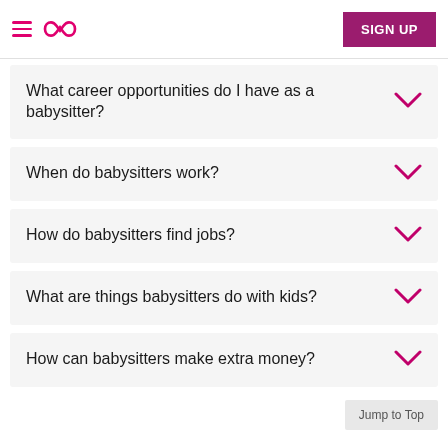Sittercity navigation header with SIGN UP button
What career opportunities do I have as a babysitter?
When do babysitters work?
How do babysitters find jobs?
What are things babysitters do with kids?
How can babysitters make extra money?